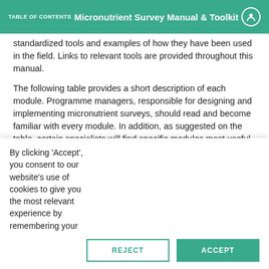TABLE OF CONTENTS | Micronutrient Survey Manual & Toolkit
standardized tools and examples of how they have been used in the field. Links to relevant tools are provided throughout this manual.
The following table provides a short description of each module. Programme managers, responsible for designing and implementing micronutrient surveys, should read and become familiar with every module. In addition, as suggested on the table, certain specialists will find specific modules most useful.
By clicking ‘Accept’, you consent to our website’s use of cookies to give you the most relevant experience by remembering your